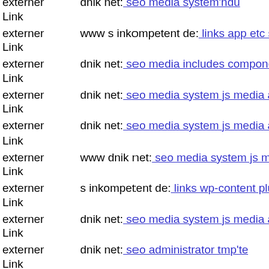externer Link dnik net: seo media system'ndu
externer Link www s inkompetent de: links app etc skin skin renata php
externer Link dnik net: seo media includes components com jinc classes g
externer Link dnik net: seo media system js media administrator compone
externer Link dnik net: seo media system js media authorize old php
externer Link www dnik net: seo media system js media images com adsm
externer Link s inkompetent de: links wp-content plugins wp-mobile-dete
externer Link dnik net: seo media system js media administratorko
externer Link dnik net: seo administrator tmp'te
externer Link dnik net: seo media system js magmi web skin components
externer Link dnik net: seo js webforms upload skin upil php
externer Link www s inkompetent de: links wp-content themes premium